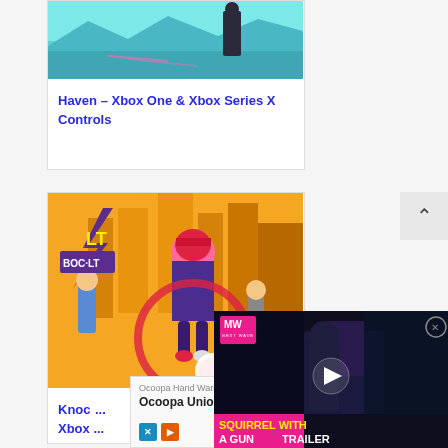[Figure (screenshot): Haven game screenshot showing teal/blue artistic landscape with a figure in dark coat]
Haven – Xbox One & Xbox Series X Controls
[Figure (illustration): Knockout City game artwork showing colorful characters in urban setting with lightning bolt logo]
Knockout City – Xbox One & Xbox ...
[Figure (screenshot): Video player overlay showing MW logo and Squirrel with a Gun trailer with play button]
[Figure (advertisement): Ocoopa Hand Warmer ad showing Ocoopa Union Cor product with ad icons]